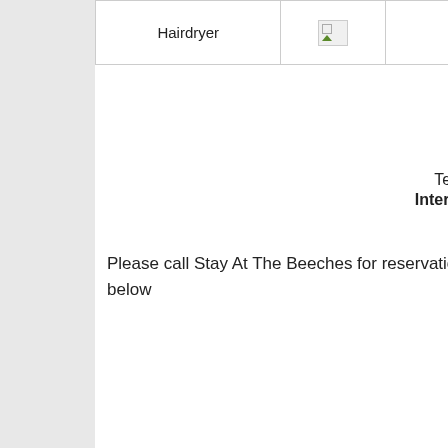| Hairdryer | [img] | Washing Machine | [img] | Iron and Ironing Board | [img] |
Your Hosts
Deb & Ian Beech
Telephone: (08) 9300 5350
International:0061 8 9300 5350
Mobile:0403 795 088
Please call Stay At The Beeches for reservations or you can contact them by using the contact form on the link below